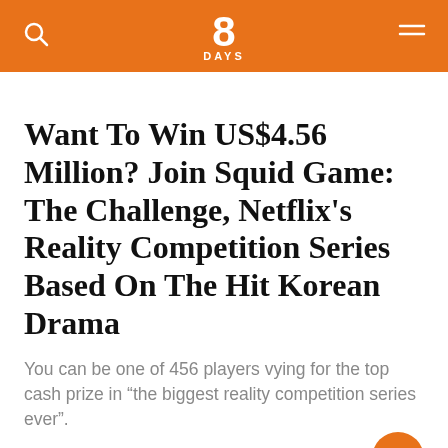8 DAYS
Want To Win US$4.56 Million? Join Squid Game: The Challenge, Netflix's Reality Competition Series Based On The Hit Korean Drama
You can be one of 456 players vying for the top cash prize in “the biggest reality competition series ever”.
15 Jun 2022 at 11:15
Stream it
Squid Game
Squid Game: The Chall